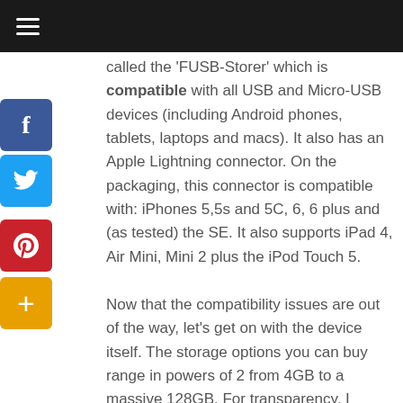Navigation menu (hamburger icon)
called the 'FUSB-Storer' which is compatible with all USB and Micro-USB devices (including Android phones, tablets, laptops and macs). It also has an Apple Lightning connector. On the packaging, this connector is compatible with: iPhones 5,5s and 5C, 6, 6 plus and (as tested) the SE. It also supports iPad 4, Air Mini, Mini 2 plus the iPod Touch 5.
Now that the compatibility issues are out of the way, let's get on with the device itself. The storage options you can buy range in powers of 2 from 4GB to a massive 128GB. For transparency, I received a 16GB device which I have tested on a Galaxy S6, Lenovo Z50 and an iPhone SE. The device worked on each device